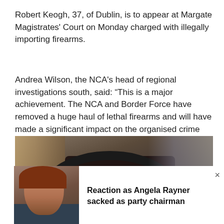Robert Keogh, 37, of Dublin, is to appear at Margate Magistrates' Court on Monday charged with illegally importing firearms.
Andrea Wilson, the NCA's head of regional investigations south, said: "This is a major achievement. The NCA and Border Force have removed a huge haul of lethal firearms and will have made a significant impact on the organised crime group responsible for this attempted importation.
[Figure (photo): Photo of the interior of a car, showing a dark car door frame, seat, and vehicle interior. Associated with the firearms smuggling story.]
[Figure (photo): Thumbnail photo of a woman with brown hair, appearing to be Angela Rayner. Part of a related article overlay/popup.]
Reaction as Angela Rayner sacked as party chairman